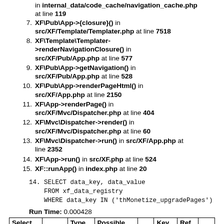in internal_data/code_cache/navigation_cache.php at line 119
7. XF\Pub\App->{closure}() in src/XF/Template/Templater.php at line 7518
8. XF\Template\Templater->renderNavigationClosure() in src/XF/Pub/App.php at line 577
9. XF\Pub\App->getNavigation() in src/XF/Pub/App.php at line 528
10. XF\Pub\App->renderPageHtml() in src/XF/App.php at line 2150
11. XF\App->renderPage() in src/XF/Mvc/Dispatcher.php at line 404
12. XF\Mvc\Dispatcher->render() in src/XF/Mvc/Dispatcher.php at line 60
13. XF\Mvc\Dispatcher->run() in src/XF/App.php at line 2352
14. XF\App->run() in src/XF.php at line 524
15. XF::runApp() in index.php at line 20
14. SELECT data_key, data_value
    FROM xf_data_registry
    WHERE data_key IN ('thMonetize_upgradePages')
Run Time: 0.000428
| Select |  | Type | Possible |  | Key | Ref |  |
| --- | --- | --- | --- | --- | --- | --- | --- |